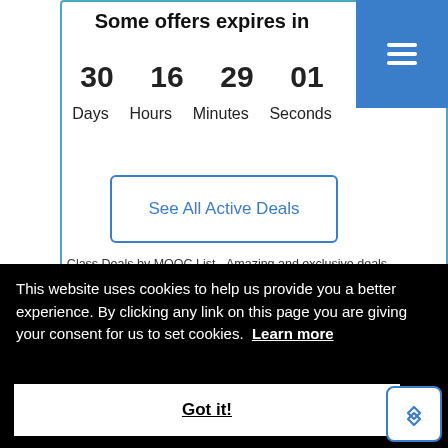Some offers expires in
30 Days   16 Hours   29 Minutes   01 Seconds
See All Active Deals
Class Deals by MOOC List - Amazing and exclusive deals for lifelong learners.
This website uses cookies to help us provide you a better experience. By clicking any link on this page you are giving your consent for us to set cookies. Learn more
Got it!